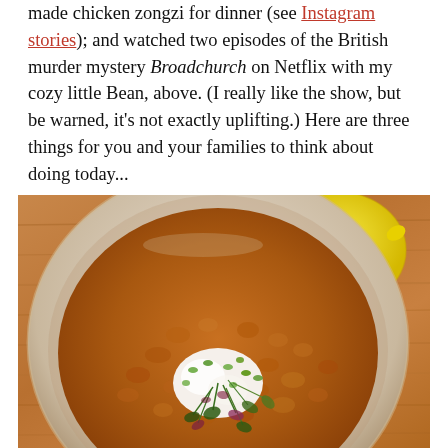made chicken zongzi for dinner (see Instagram stories); and watched two episodes of the British murder mystery Broadchurch on Netflix with my cozy little Bean, above. (I really like the show, but be warned, it's not exactly uplifting.) Here are three things for you and your families to think about doing today...
[Figure (photo): Overhead photo of a bowl of red lentil soup/dal topped with a dollop of white cream, sliced green onions, and fresh microgreens. A lemon sits in the upper right on a wooden cutting board background.]